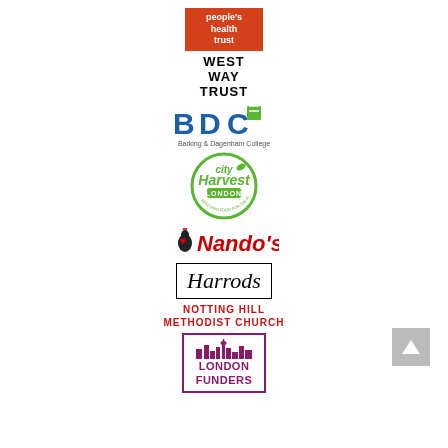[Figure (logo): People's Health Trust logo - orange/red background with white bold text reading 'people's health trust']
[Figure (logo): West Way Trust logo - bold black uppercase block text 'WEST WAY TRUST']
[Figure (logo): BDC Barking & Dagenham College logo - blue bold letters BDC with green accent, subtitle 'Barking & Dagenham College']
[Figure (logo): City Harvest London logo - green circular badge with italic text 'city Harvest' and 'LONDON', tagline 'RESCUING FOOD FOR THE HUNGRY']
[Figure (logo): Nando's logo - red italic text 'Nando's' with rooster icon]
[Figure (logo): Harrods logo - black bordered box with italic serif text 'Harrods']
[Figure (logo): Notting Hill Methodist Church logo - bold red uppercase text 'NOTTING HILL METHODIST CHURCH']
[Figure (logo): London Funders logo - purple bordered box with city skyline and bold text 'LONDON FUNDERS']